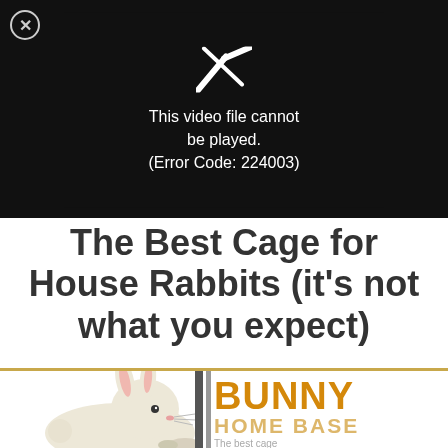[Figure (screenshot): Black video player showing error: 'This video file cannot be played. (Error Code: 224003)' with a broken play icon and a close (X) button in the top-left corner.]
The Best Cage for House Rabbits (it's not what you expect)
[Figure (logo): Bunny Home Base logo: illustration of a white/cream rabbit peeking through vertical bars, with 'BUNNY HOME BASE' in bold orange text to the right. Gold horizontal line above. Tagline 'The best cage' partially visible.]